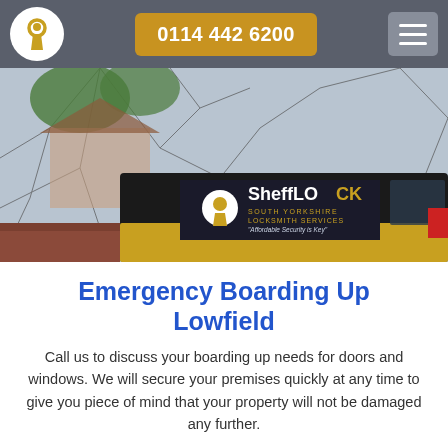0114 442 6200
[Figure (photo): Photo of a shattered window with the SheffLOCK South Yorkshire Locksmith Services van visible behind it. The van is black and gold with the logo and tagline 'Affordable Security is Key'.]
Emergency Boarding Up Lowfield
Call us to discuss your boarding up needs for doors and windows. We will secure your premises quickly at any time to give you piece of mind that your property will not be damaged any further.
Emergency Boarding